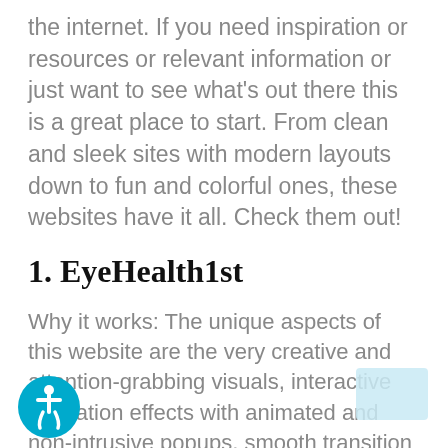the internet. If you need inspiration or resources or relevant information or just want to see what's out there this is a great place to start. From clean and sleek sites with modern layouts down to fun and colorful ones, these websites have it all. Check them out!
1. EyeHealth1st
Why it works: The unique aspects of this website are the very creative and attention-grabbing visuals, interactive animation effects with animated and non-intrusive popups, smooth transition as visitors or patients scroll down the website page, creative storytelling that leads to call-to-action at the bottom.